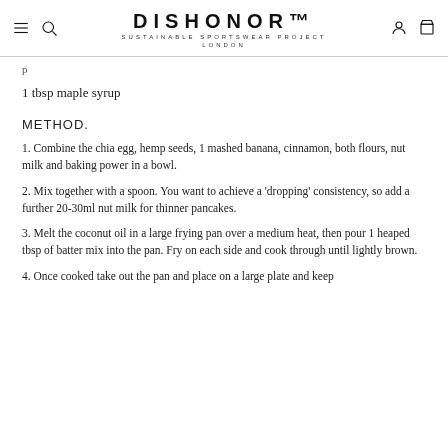DISHONOR™ SUSTAINABLE SPORTSWEAR PROJECT LONDON
1 tbsp maple syrup
METHOD.
1. Combine the chia egg, hemp seeds, 1 mashed banana, cinnamon, both flours, nut milk and baking power in a bowl.
2. Mix together with a spoon. You want to achieve a 'dropping' consistency, so add a further 20-30ml nut milk for thinner pancakes.
3. Melt the coconut oil in a large frying pan over a medium heat, then pour 1 heaped tbsp of batter mix into the pan. Fry on each side and cook through until lightly brown.
4. Once cooked take out the pan and place on a large plate and keep